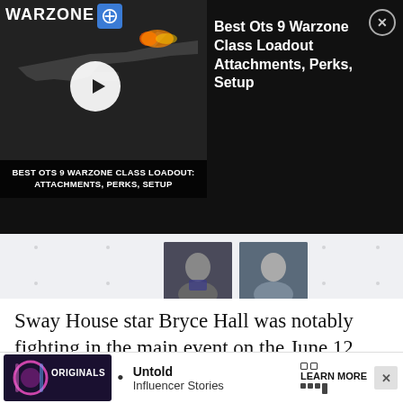[Figure (screenshot): Video ad overlay for 'Best Ots 9 Warzone Class Loadout: Attachments, Perks, Setup' showing a dark thumbnail with a gun silhouette, play button, Warzone logo, and blue icon. Title text on the right.]
[Figure (screenshot): Advertisement unit showing two small thumbnail images of people on a light grey dotted background, with a 'LEARN MORE' call to action button with square icons.]
Sway House star Bryce Hall was notably fighting in the main event on the June 12 card, against none other t… d that he was… e
[Figure (screenshot): Bottom banner ad for 'Originals' with 'Untold Influencer Stories' text, a 'LEARN MORE' button, and a close X button.]